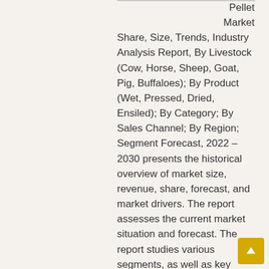Pellet Market Share, Size, Trends, Industry Analysis Report, By Livestock (Cow, Horse, Sheep, Goat, Pig, Buffaloes); By Product (Wet, Pressed, Dried, Ensiled); By Category; By Sales Channel; By Region; Segment Forecast, 2022 – 2030 presents the historical overview of market size, revenue, share, forecast, and market drivers. The report assesses the current market situation and forecast. The report studies various segments, as well as key opportunities in the global Beet Pulp Pellets market and influencing factor which is useful and helpful to the business. The report sheds light on an overview of international Beet Pulp